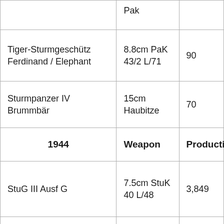|  | Weapon | Production |
| --- | --- | --- |
|  | Pak |  |
| Tiger-Sturmgeschütz Ferdinand / Elephant | 8.8cm PaK 43/2 L/71 | 90 |
| Sturmpanzer IV Brummbär | 15cm Haubitze | 70 |
| 1944 | Weapon | Production |
| StuG III Ausf G | 7.5cm StuK 40 L/48 | 3,849 |
| PzKpfw V Panther | 7.5cm KwK 42 L/70 | 3,777 |
|  | 7.5cm |  |